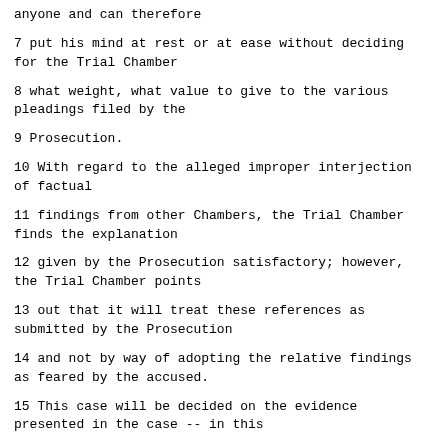anyone and can therefore
7 put his mind at rest or at ease without deciding for the Trial Chamber
8 what weight, what value to give to the various pleadings filed by the
9 Prosecution.
10 With regard to the alleged improper interjection of factual
11 findings from other Chambers, the Trial Chamber finds the explanation
12 given by the Prosecution satisfactory; however, the Trial Chamber points
13 out that it will treat these references as submitted by the Prosecution
14 and not by way of adopting the relative findings as feared by the accused.
15 This case will be decided on the evidence presented in the case -- in this
16 case, and not on any other.
17 This motion, therefore, that is the accused's motion of April 16